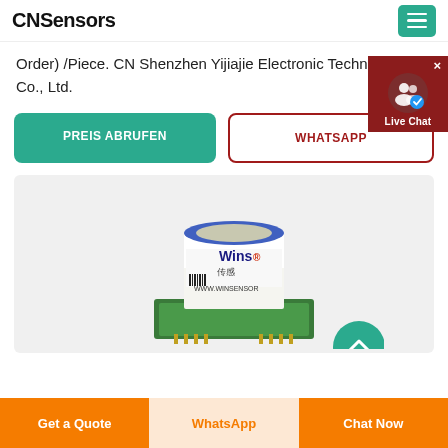CNSensors
Order) /Piece. CN Shenzhen Yijiajie Electronic Technology Co., Ltd.
[Figure (screenshot): Live Chat popup button with user icon and checkmark badge]
PREIS ABRUFEN
WHATSAPP
[Figure (photo): Winsensor gas sensor module product photo showing a cylindrical sensor on a green PCB breakout board. Label reads Wins, WWW.WINSENSOR]
Get a Quote
WhatsApp
Chat Now